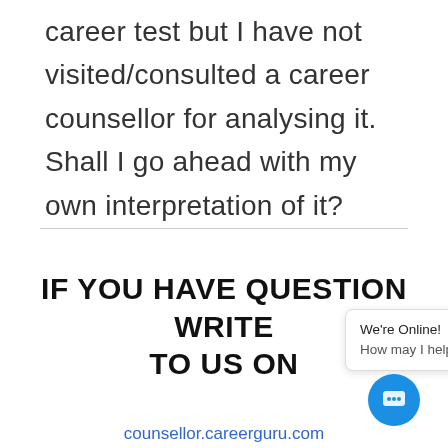career test but I have not visited/consulted a career counsellor for analysing it. Shall I go ahead with my own interpretation of it?
IF YOU HAVE QUESTION WRITE TO US ON
counsellor.careerguru.com
[Figure (screenshot): Live chat popup widget showing 'We're Online! How may I help you today?' with a blue circular chat icon button.]